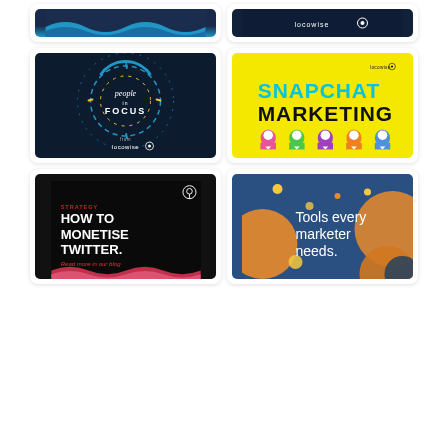[Figure (illustration): Partial dark blue and cyan wave graphic, cropped at top (Locowise social media post)]
[Figure (illustration): Dark navy background with Locowise logo text and pin icon in white]
[Figure (illustration): Dark navy circular design with dashed circles and 'People in Focus' text, Locowise branding at bottom]
[Figure (illustration): Yellow background Snapchat Marketing post with colorful ghost icons at bottom and locowise logo top right]
[Figure (illustration): Black background with 'STRATEGY' label, 'HOW TO MONETISE TWITTER.' heading, 'Read more in our blog' in red, red/pink wave at bottom]
[Figure (illustration): Dark blue background with orange/yellow circles and white text 'Tools every marketer needs.']